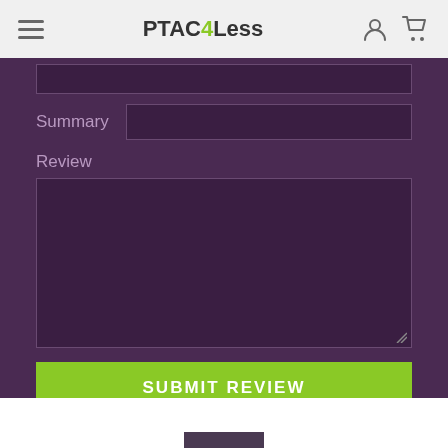PTAC4Less
Summary
Review
SUBMIT REVIEW